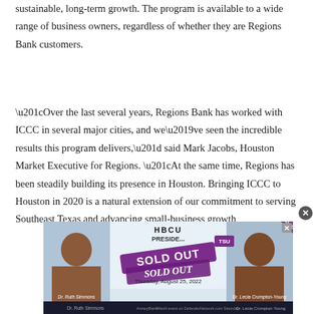sustainable, long-term growth. The program is available to a wide range of business owners, regardless of whether they are Regions Bank customers.
“Over the last several years, Regions Bank has worked with ICCC in several major cities, and we’ve seen the incredible results this program delivers,” said Mark Jacobs, Houston Market Executive for Regions. “At the same time, Regions has been steadily building its presence in Houston. Bringing ICCC to Houston in 2020 is a natural extension of our commitment to serving Southeast Texas and advancing small-business growth
[Figure (photo): Advertisement banner for HBCU Presidents event showing two women (Dr. Ruth Simmons and Dr. Lecia Crumpton-Young) with a 'SOLD OUT' overlay in purple, Thursday August 25, 2022, with logos for AnneyBank and Defender]